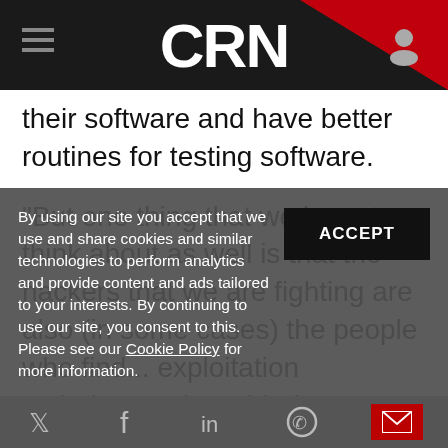CRN
their software and have better routines for testing software.
“But one thing that we have to think about as well is that the hackers that we are fighting are also (in some cases) the people who find... exploitation techniques,” he added.
“What will happen if someone comes up with a new exploitation technique that affects all software written in a certain language?”
By using our site you accept that we use and share cookies and similar technologies to perform analytics and provide content and ads tailored to your interests. By continuing to use our site, you consent to this. Please see our Cookie Policy for more information.